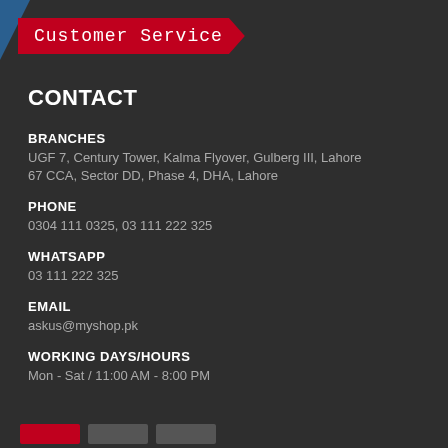Customer Service
CONTACT
BRANCHES
UGF 7, Century Tower, Kalma Flyover, Gulberg III, Lahore
67 CCA, Sector DD, Phase 4, DHA, Lahore
PHONE
0304 111 0325, 03 111 222 325
WHATSAPP
03 111 222 325
EMAIL
askus@myshop.pk
WORKING DAYS/HOURS
Mon - Sat / 11:00 AM - 8:00 PM